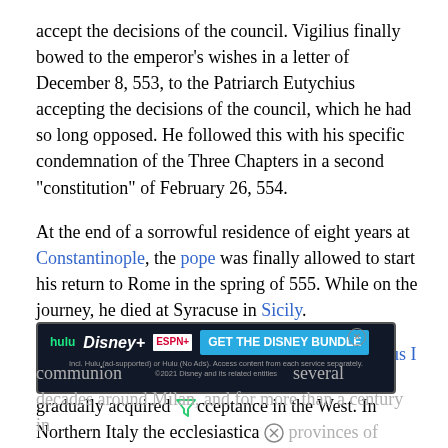accept the decisions of the council. Vigilius finally bowed to the emperor's wishes in a letter of December 8, 553, to the Patriarch Eutychius accepting the decisions of the council, which he had so long opposed. He followed this with his specific condemnation of the Three Chapters in a second "constitution" of February 26, 554.
At the end of a sorrowful residence of eight years at Constantinople, the pope was finally allowed to start his return to Rome in the spring of 555. While on the journey, he died at Syracuse in Sicily.
Despite the additional recognition of Pope Pelagius I (555-60), the Fifth Ecumenical Council only gradually acquired acceptance in the West. In Northern Italy the ecclesiastical provinces of Milan and Aquileia, believing that the papacy had been... communion... several decades around Milan, and for more than a century in
[Figure (screenshot): Advertisement banner for Disney Bundle featuring Hulu, Disney+, ESPN+ logos and 'GET THE DISNEY BUNDLE' call-to-action button]